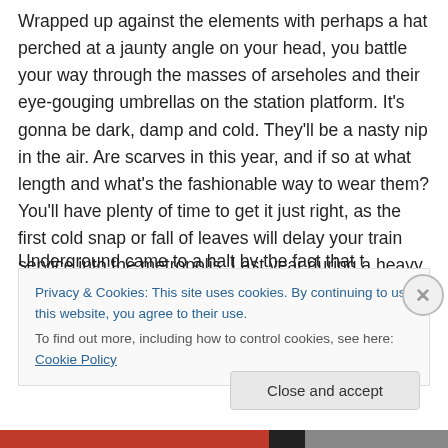Wrapped up against the elements with perhaps a hat perched at a jaunty angle on your head, you battle your way through the masses of arseholes and their eye-gouging umbrellas on the station platform. It's gonna be dark, damp and cold. They'll be a nasty nip in the air. Are scarves in this year, and if so at what length and what's the fashionable way to wear them? You'll have plenty of time to get it just right, as the first cold snap or fall of leaves will delay your train service into the metropolis. Last year during a heavy snowfall the London
Privacy & Cookies: This site uses cookies. By continuing to use this website, you agree to their use.
To find out more, including how to control cookies, see here: Cookie Policy
Close and accept